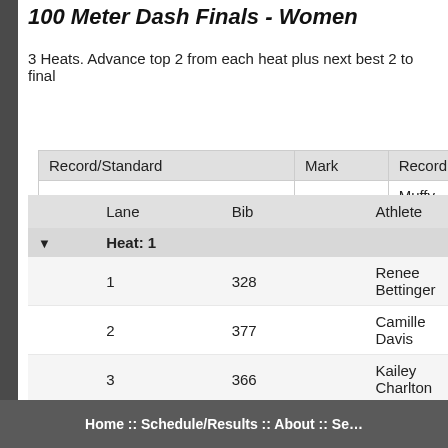100 Meter Dash Finals - Women
3 Heats. Advance top 2 from each heat plus next best 2 to final
| Record/Standard | Mark | Record |
| --- | --- | --- |
| DIII Champ | 11.71 | Muffy Is... |
| Stadium | 11.54 | Jernae ... |
|  | Lane | Bib | Athlete |
| --- | --- | --- | --- |
| Heat: 1 |  |  |  |
|  | 1 | 328 | Renee Bettinger |
|  | 2 | 377 | Camille Davis |
|  | 3 | 366 | Kailey Charlton |
|  | 4 | 157 | Ashlynn Chavis |
|  | 5 | 156 | Ruby Blackwell |
|  | 6 | 23 | Erica Johnson |
|  | 7 | 170 | Erica Cook |
|  | 8 | 327 | Targie Gervais |
Home :: Schedule/Results :: About :: Se...